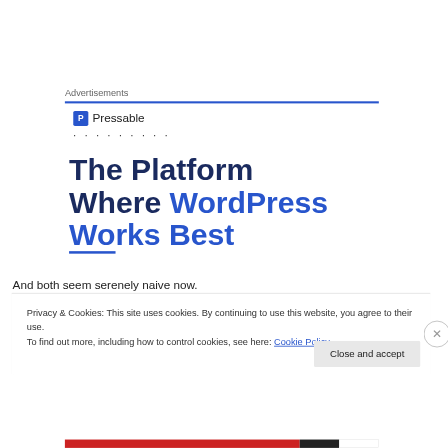Advertisements
[Figure (logo): Pressable logo with blue P icon and text 'Pressable', followed by dotted ellipsis decoration]
The Platform Where WordPress Works Best
And both seem serenely naive now.
Privacy & Cookies: This site uses cookies. By continuing to use this website, you agree to their use.
To find out more, including how to control cookies, see here: Cookie Policy
Close and accept